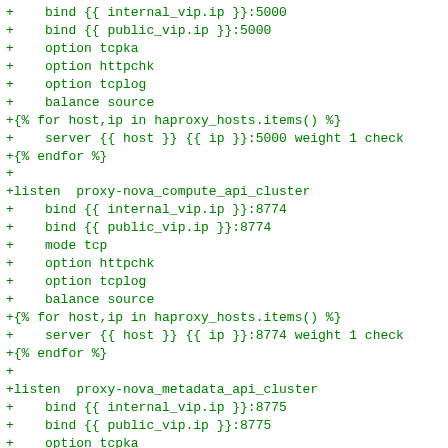+    bind {{ internal_vip.ip }}:5000
+    bind {{ public_vip.ip }}:5000
+    option tcpka
+    option httpchk
+    option tcplog
+    balance source
+{% for host,ip in haproxy_hosts.items() %}
+    server {{ host }} {{ ip }}:5000 weight 1 check
+{% endfor %}
+
+listen  proxy-nova_compute_api_cluster
+    bind {{ internal_vip.ip }}:8774
+    bind {{ public_vip.ip }}:8774
+    mode tcp
+    option httpchk
+    option tcplog
+    balance source
+{% for host,ip in haproxy_hosts.items() %}
+    server {{ host }} {{ ip }}:8774 weight 1 check
+{% endfor %}
+
+listen  proxy-nova_metadata_api_cluster
+    bind {{ internal_vip.ip }}:8775
+    bind {{ public_vip.ip }}:8775
+    option tcpka
+    option tcplog
+    balance source
+{% for host,ip in haproxy_hosts.items() %}
+    server {{ host }} {{ ip }}:8775 weight 1 check
+{% endfor %}